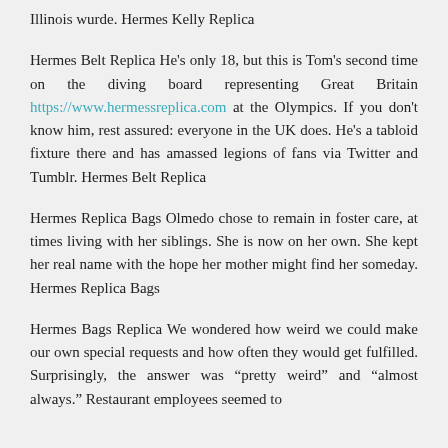Illinois wurde. Hermes Kelly Replica
Hermes Belt Replica He's only 18, but this is Tom's second time on the diving board representing Great Britain https://www.hermessreplica.com at the Olympics. If you don't know him, rest assured: everyone in the UK does. He's a tabloid fixture there and has amassed legions of fans via Twitter and Tumblr. Hermes Belt Replica
Hermes Replica Bags Olmedo chose to remain in foster care, at times living with her siblings. She is now on her own. She kept her real name with the hope her mother might find her someday. Hermes Replica Bags
Hermes Bags Replica We wondered how weird we could make our own special requests and how often they would get fulfilled. Surprisingly, the answer was “pretty weird” and “almost always.” Restaurant employees seemed to